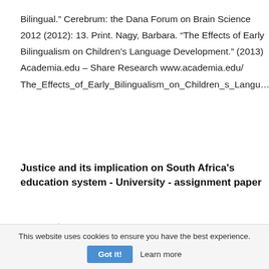Bilingual.” Cerebrum: the Dana Forum on Brain Science 2012 (2012): 13. Print. Nagy, Barbara. “The Effects of Early Bilingualism on Children’s Language Development.” (2013) Academia.edu – Share Research www.academia.edu/ The_Effects_of_Early_Bilingualism_on_Children_s_Langua…
Justice and its implication on South Africa's education system - University - assignment paper
2629 words - 11 pages
This website uses cookies to ensure you have the best experience.